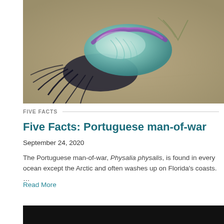[Figure (photo): Portuguese man-of-war washed up on a sandy beach. The creature has a translucent blue-purple float (pneumatophore) with iridescent coloring and dark tentacles spread out on the wet sand.]
FIVE FACTS
Five Facts: Portuguese man-of-war
September 24, 2020
The Portuguese man-of-war, Physalia physalis, is found in every ocean except the Arctic and often washes up on Florida's coasts. …
Read More